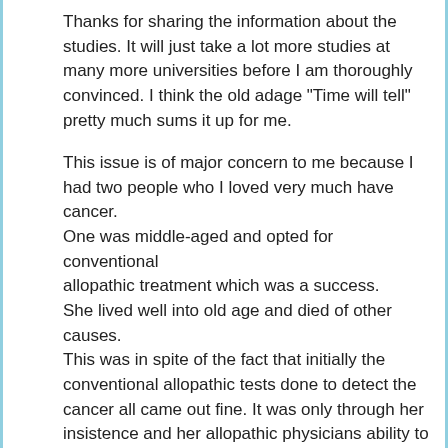Thanks for sharing the information about the studies. It will just take a lot more studies at many more universities before I am thoroughly convinced. I think the old adage "Time will tell" pretty much sums it up for me.
This issue is of major concern to me because I had two people who I loved very much have cancer.
One was middle-aged and opted for conventional
allopathic treatment which was a success.
She lived well into old age and died of other causes.
This was in spite of the fact that initially the conventional allopathic tests done to detect the cancer all came out fine. It was only through her insistence and her allopathic physicians ability to listen to her concerns and act on them that the cancer was found early and her life was saved.
The other was elderly and frail and chose to simply live life to the fullest without any conventional or alternative treatment until life came to its natural end. In this case, the end turned out to be from other causes, too. So,